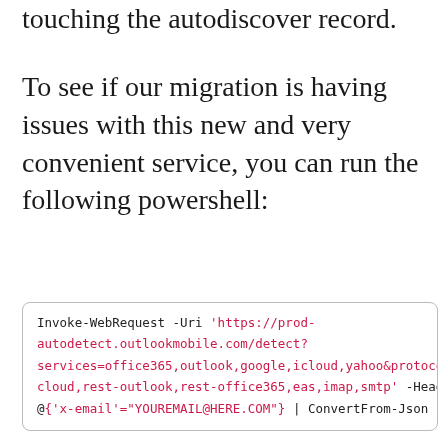touching the autodiscover record.
To see if our migration is having issues with this new and very convenient service, you can run the following powershell:
Invoke-WebRequest -Uri 'https://prod-autodetect.outlookmobile.com/detect?services=office365,outlook,google,icloud,yahoo&protocols=cloud,rest-outlook,rest-office365,eas,imap,smtp' -Headers @{'x-email'="YOUREMAIL@HERE.COM"} | ConvertFrom-Json